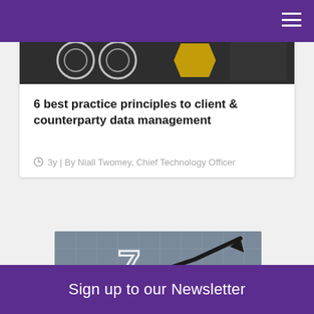[Figure (photo): Top portion of an article card showing a chalkboard image with circular diagrams and a person wearing a yellow outfit]
6 best practice principles to client & counterparty data management
🕐3y | By Niall Twomey, Chief Technology Officer
[Figure (photo): Person standing in front of a large grid board with a glowing arrow and rising trend arrow indicating growth]
Sign up to our Newsletter